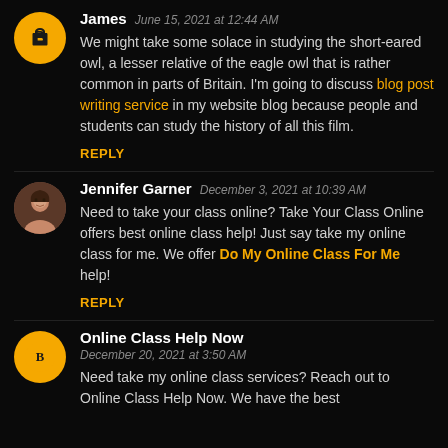James   June 15, 2021 at 12:44 AM
We might take some solace in studying the short-eared owl, a lesser relative of the eagle owl that is rather common in parts of Britain. I'm going to discuss blog post writing service in my website blog because people and students can study the history of all this film.
REPLY
Jennifer Garner   December 3, 2021 at 10:39 AM
Need to take your class online? Take Your Class Online offers best online class help! Just say take my online class for me. We offer Do My Online Class For Me help!
REPLY
Online Class Help Now
December 20, 2021 at 3:50 AM
Need take my online class services? Reach out to Online Class Help Now. We have the best